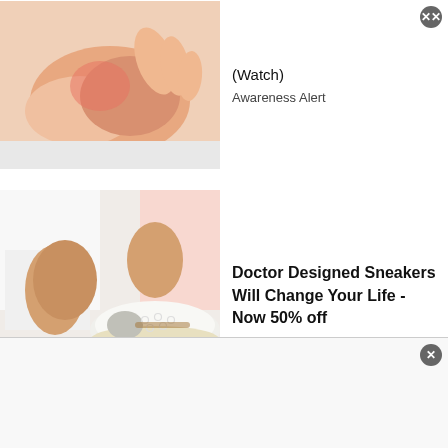[Figure (photo): Close-up photo of a person touching their foot/ankle area, medical/health related]
(Watch)
Awareness Alert
[Figure (photo): Photo of white slip-on sneakers/shoes with perforated design and tan sole, worn by a person in white pants]
Doctor Designed Sneakers Will Change Your Life - Now 50% off
Sursell